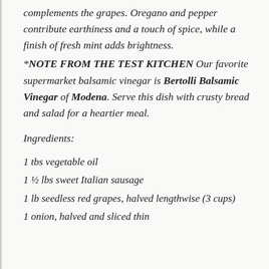complements the grapes. Oregano and pepper contribute earthiness and a touch of spice, while a finish of fresh mint adds brightness.
*NOTE FROM THE TEST KITCHEN Our favorite supermarket balsamic vinegar is Bertolli Balsamic Vinegar of Modena. Serve this dish with crusty bread and salad for a heartier meal.
Ingredients:
1 tbs vegetable oil
1 ½ lbs sweet Italian sausage
1 lb seedless red grapes, halved lengthwise (3 cups)
1 onion, halved and sliced thin